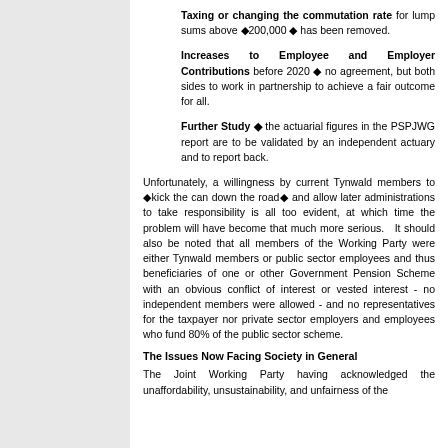Taxing or changing the commutation rate for lump sums above €200,000 € has been removed.
Increases to Employee and Employer Contributions before 2020 € no agreement, but both sides to work in partnership to achieve a fair outcome for all.
Further Study € the actuarial figures in the PSPJWG report are to be validated by an independent actuary and to report back.
Unfortunately, a willingness by current Tynwald members to €kick the can down the road€ and allow later administrations to take responsibility is all too evident, at which time the problem will have become that much more serious. It should also be noted that all members of the Working Party were either Tynwald members or public sector employees and thus beneficiaries of one or other Government Pension Scheme with an obvious conflict of interest or vested interest - no independent members were allowed - and no representatives for the taxpayer nor private sector employers and employees who fund 80% of the public sector scheme.
The Issues Now Facing Society in General
The Joint Working Party having acknowledged the unaffordability, unsustainability, and unfairness of the